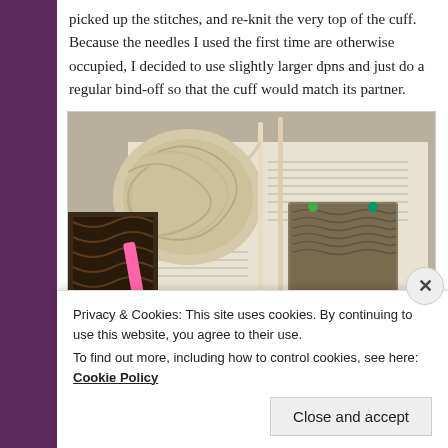picked up the stitches, and re-knit the very top of the cuff. Because the needles I used the first time are otherwise occupied, I decided to use slightly larger dpns and just do a regular bind-off so that the cuff would match its partner.
[Figure (photo): A ball of cream/beige yarn on a knitting pattern book, with knitting needles and a small knitted swatch visible. Pink and green stitch markers are present. The scene is on a patterned fabric background.]
Privacy & Cookies: This site uses cookies. By continuing to use this website, you agree to their use.
To find out more, including how to control cookies, see here: Cookie Policy
Close and accept